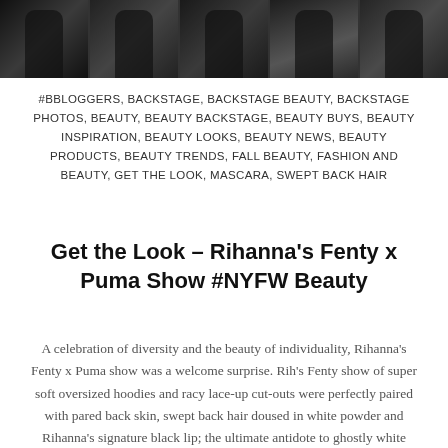[Figure (photo): Strip of backstage fashion show photos showing models in black outfits against a white backdrop]
#BBLOGGERS, BACKSTAGE, BACKSTAGE BEAUTY, BACKSTAGE PHOTOS, BEAUTY, BEAUTY BACKSTAGE, BEAUTY BUYS, BEAUTY INSPIRATION, BEAUTY LOOKS, BEAUTY NEWS, BEAUTY PRODUCTS, BEAUTY TRENDS, FALL BEAUTY, FASHION AND BEAUTY, GET THE LOOK, MASCARA, SWEPT BACK HAIR
Get the Look – Rihanna's Fenty x Puma Show #NYFW Beauty
A celebration of diversity and the beauty of individuality, Rihanna's Fenty x Puma show was a welcome surprise. Rih's Fenty show of super soft oversized hoodies and racy lace-up cut-outs were perfectly paired with pared back skin, swept back hair doused in white powder and Rihanna's signature black lip; the ultimate antidote to ghostly white lashes.  Set [...]